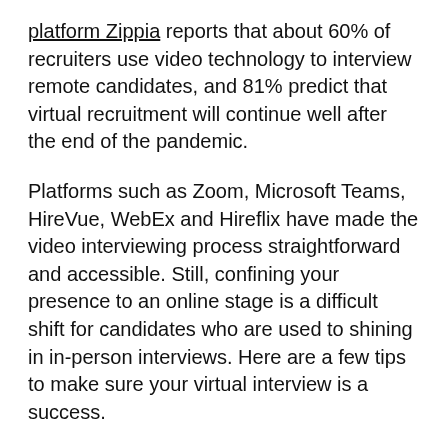platform Zippia reports that about 60% of recruiters use video technology to interview remote candidates, and 81% predict that virtual recruitment will continue well after the end of the pandemic.
Platforms such as Zoom, Microsoft Teams, HireVue, WebEx and Hireflix have made the video interviewing process straightforward and accessible. Still, confining your presence to an online stage is a difficult shift for candidates who are used to shining in in-person interviews. Here are a few tips to make sure your virtual interview is a success.
1. Familiarize yourself with the technology